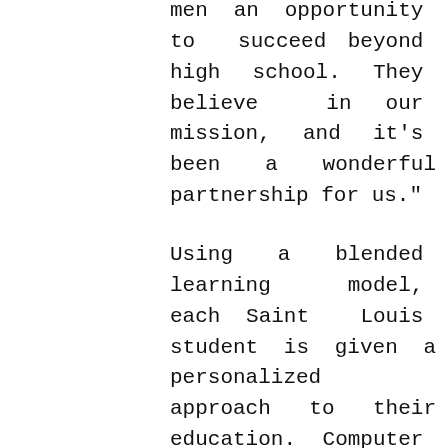men an opportunity to succeed beyond high school. They believe in our mission, and it's been a wonderful partnership for us."
Using a blended learning model, each Saint Louis student is given a personalized approach to their education. Computer programs allow teachers to find the individual zones of proximal development in reading and math; tailoring learning to meet each student's unique capabilities. Cooperative learning and traditional teaching styles are also implemented, providing a variety of opportunities for student success using a balanced